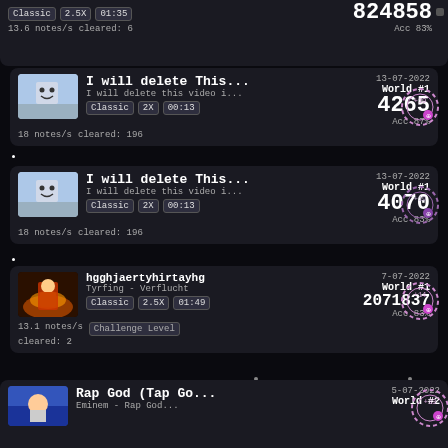[Figure (screenshot): Game score leaderboard screenshot showing music rhythm game entries. Top partial card shows score 824858 Acc 83%. Entry 1: I will delete This... / I will delete this video i... / Classic 2X 00:13 / 18 notes/s cleared: 196 / 13-07-2022 World #1 4265 Acc 87% +19. Entry 2: I will delete This... / I will delete this video i... / Classic 2X 00:13 / 18 notes/s cleared: 196 / 13-07-2022 World #1 4070 Acc 83% +19. Entry 3: hgghjаertyhirtayhg / Tyrfing - Verflucht / Classic 2.5X 01:49 / 13.1 notes/s Challenge Level cleared: 2 / 7-07-2022 World #1 2071837 Acc 83% +14. Entry 4: Fighting For... / 5150 Ryuu 5150 ... / Classic 2.5X / 04:54 14 notes/s cleared: 13 / 6-07-2022 World #1 70179398 Acc 85% +12. Bottom partial: Rap God (Tap Go... / Eminem - Rap God... / 5-07-2022 World #2 +33.]